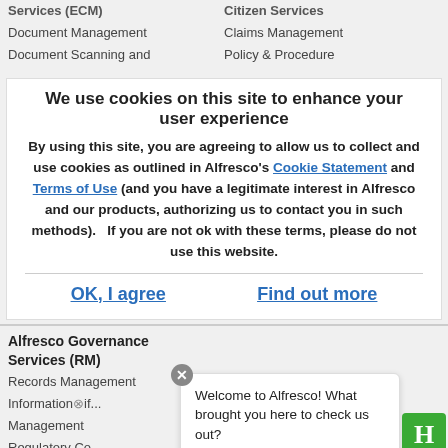Document Management
Document Scanning and
Citizen Services
Claims Management
Policy & Procedure
We use cookies on this site to enhance your user experience
By using this site, you are agreeing to allow us to collect and use cookies as outlined in Alfresco's Cookie Statement and Terms of Use (and you have a legitimate interest in Alfresco and our products, authorizing us to contact you in such methods).   If you are not ok with these terms, please do not use this website.
OK, I agree
Find out more
Alfresco Governance Services (RM)
Records Management
Information Governance Management
Regulatory Co...
Welcome to Alfresco! What brought you here to check us out?